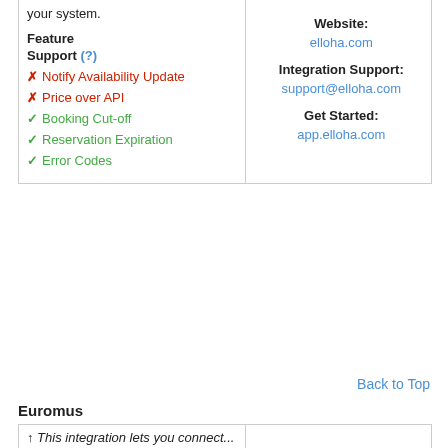your system.
Feature
Support (?)
✗ Notify Availability Update
✗ Price over API
✓ Booking Cut-off
✓ Reservation Expiration
✓ Error Codes
Website: elloha.com
Integration Support: support@elloha.com
Get Started: app.elloha.com
Back to Top
Euromus
This integration lets you connect...